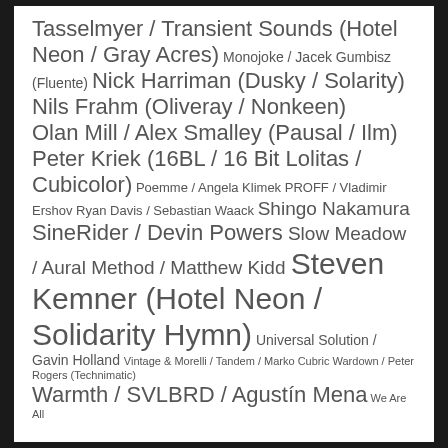Tasselmyer / Transient Sounds (Hotel Neon / Gray Acres) Monojoke / Jacek Gumbisz (Fluente) Nick Harriman (Dusky / Solarity) Nils Frahm (Oliveray / Nonkeen) Olan Mill / Alex Smalley (Pausal / Ilm) Peter Kriek (16BL / 16 Bit Lolitas / Cubicolor) Poemme / Angela Klimek PROFF / Vladimir Ershov Ryan Davis / Sebastian Waack Shingo Nakamura SineRider / Devin Powers Slow Meadow / Aural Method / Matthew Kidd Steven Kemner (Hotel Neon / Solidarity Hymn) Universal Solution / Gavin Holland Vintage & Morelli / Tandem / Marko Cubric Wardown / Peter Rogers (Technimatic) Warmth / SVLBRD / Agustín Mena We Are All